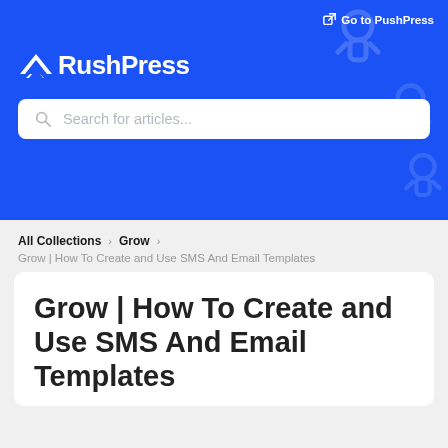[Figure (logo): PushPress logo with arrow/wing icon and white text on blue background]
Go to PushPress
Search for articles...
All Collections > Grow >
Grow | How To Create and Use SMS And Email Templates
Grow | How To Create and Use SMS And Email Templates